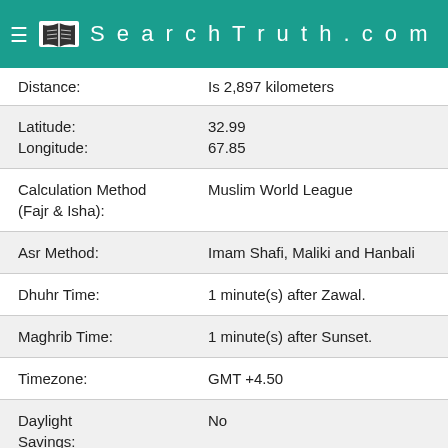SearchTruth.com
| Field | Value |
| --- | --- |
| Distance: | Is 2,897 kilometers |
| Latitude:
Longitude: | 32.99
67.85 |
| Calculation Method (Fajr & Isha): | Muslim World League |
| Asr Method: | Imam Shafi, Maliki and Hanbali |
| Dhuhr Time: | 1 minute(s) after Zawal. |
| Maghrib Time: | 1 minute(s) after Sunset. |
| Timezone: | GMT +4.50 |
| Daylight Savings: | No |
Click here to Change